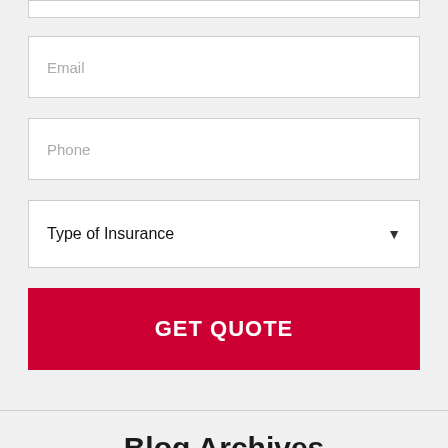[Figure (screenshot): Partial form input box at top of page (cropped)]
Email
Phone
Type of Insurance
GET QUOTE
Blog Archives